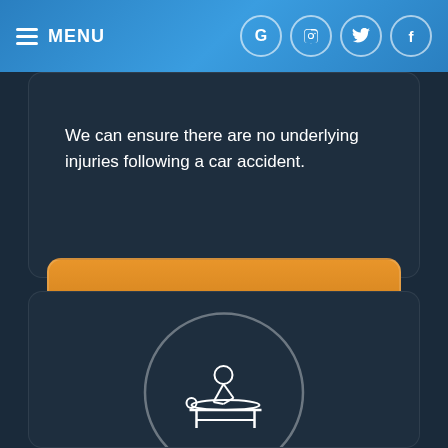MENU
We can ensure there are no underlying injuries following a car accident.
LEARN MORE
[Figure (illustration): A circular icon with a white line-art illustration of a massage therapist working on a patient lying on a table]